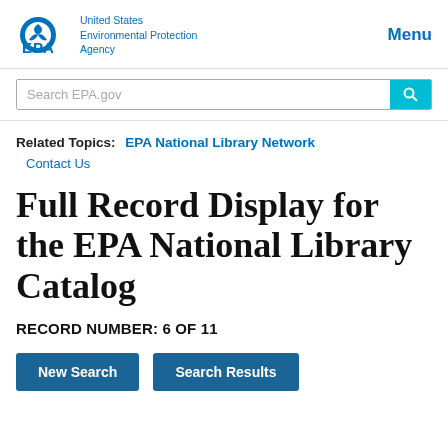EPA | United States Environmental Protection Agency | Menu
Search EPA.gov
Related Topics: EPA National Library Network
Contact Us
Full Record Display for the EPA National Library Catalog
RECORD NUMBER: 6 OF 11
New Search | Search Results